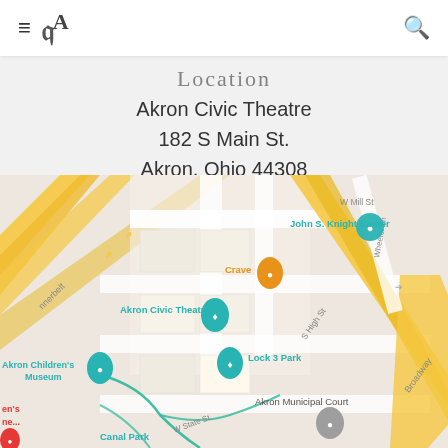≡ CA [logo] 🔍
Location
Akron Civic Theatre
182 S Main St.
Akron, Ohio 44308
[Figure (map): Google Maps screenshot showing Akron Civic Theatre at 182 S Main St, Akron Ohio. Map shows surrounding streets including W Mill St, S High St, W State St, Broadway, Wheeler Ln. Nearby landmarks include John S. Knight Center, Crave restaurant, Lock 3 Park, Akron Children's Museum, Akron Municipal Court, and Canal Park.]